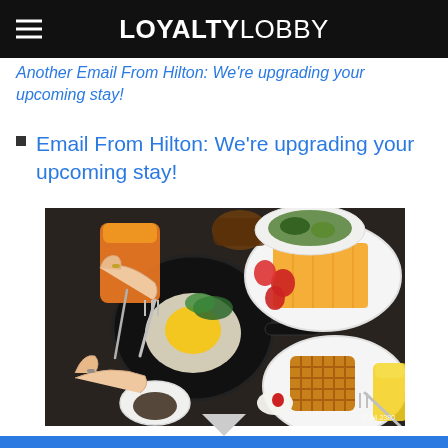LOYALTYLOBBY
Another Email From Hilton: We're upgrading your upcoming stay!
Email From Hilton: We're upgrading your upcoming stay!
[Figure (photo): Overhead view of a breakfast/brunch table with plates of food including waffles, eggs, sliced mango and strawberries, orange juice, salad, and cutlery. Hands are visible cutting food.]